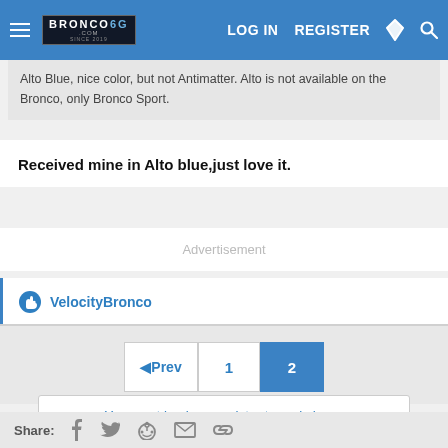BRONCO6G.COM | LOG IN | REGISTER
Alto Blue, nice color, but not Antimatter. Alto is not available on the Bronco, only Bronco Sport.
Received mine in Alto blue,just love it.
Advertisement
VelocityBronco
Prev 1 2
You must log in or register to reply here.
Share: